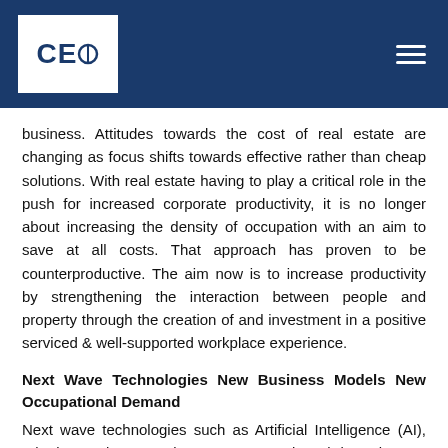CEO
business. Attitudes towards the cost of real estate are changing as focus shifts towards effective rather than cheap solutions. With real estate having to play a critical role in the push for increased corporate productivity, it is no longer about increasing the density of occupation with an aim to save at all costs. That approach has proven to be counterproductive. The aim now is to increase productivity by strengthening the interaction between people and property through the creation of and investment in a positive serviced & well-supported workplace experience.
Next Wave Technologies New Business Models New Occupational Demand
Next wave technologies such as Artificial Intelligence (AI), robotics and automation are expected to bring about a period of rapid organizational change and process re-engineering. This will alter the future form function and location of the workplace, reset the quantum and quality of staff required for a business and brings about closer interaction of humans and